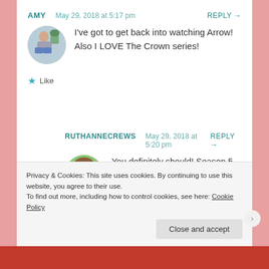AMY  May 29, 2018 at 5:17 pm   REPLY →
[Figure (photo): Circular avatar photo of Amy, a woman sitting]
I've got to get back into watching Arrow! Also I LOVE The Crown series!
★ Like
RUTHANNECREWS  May 29, 2018 at 5:20 pm   REPLY →
[Figure (photo): Circular avatar photo of Ruthannecrews, a young girl]
You definitely should! Season 5 was one of it's strongest and this past season was the first one without flashbacks! and it's one
Privacy & Cookies: This site uses cookies. By continuing to use this website, you agree to their use.
To find out more, including how to control cookies, see here: Cookie Policy
Close and accept